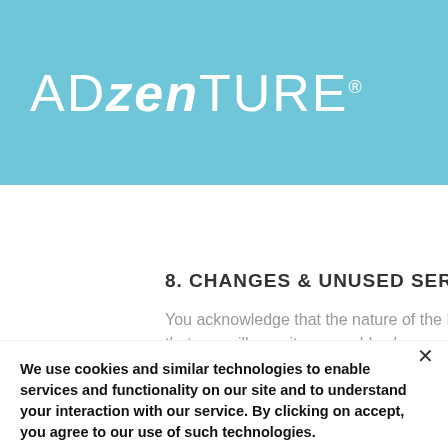[Figure (logo): ADzenTURE logo on light blue background]
8. CHANGES & UNUSED SERVICES
You acknowledge that the nature of the Retreats requires flexibility and acknowledges that you will permit reasonable changes to products, services or itineraries by Adzenture Retreats. The route, schedules, accommodations, activities, amenities
We use cookies and similar technologies to enable services and functionality on our site and to understand your interaction with our service. By clicking on accept, you agree to our use of such technologies.
Cookie Settings
Accept